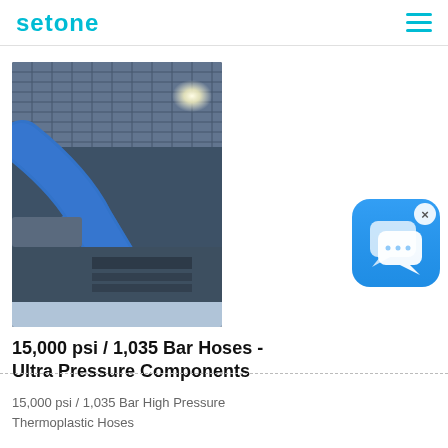setone
[Figure (photo): Industrial blue thermoplastic hose connected to machinery, with a bright light source visible in the background behind metal grating.]
[Figure (illustration): Chat/messaging app icon — round-cornered blue square with two overlapping speech bubble icons, and a small close (x) button in the top right corner.]
15,000 psi / 1,035 Bar Hoses - Ultra Pressure Components
15,000 psi / 1,035 Bar High Pressure Thermoplastic Hoses